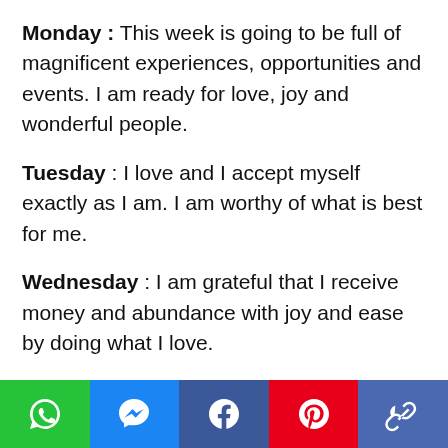Monday : This week is going to be full of magnificent experiences, opportunities and events. I am ready for love, joy and wonderful people.
Tuesday : I love and I accept myself exactly as I am. I am worthy of what is best for me.
Wednesday : I am grateful that I receive money and abundance with joy and ease by doing what I love.
Thursday : I am more and more in harmony
[Figure (infographic): Social sharing bar with icons for WhatsApp (green), Messenger (blue), Facebook (dark blue), Pinterest (red), and a link/copy icon (medium blue).]